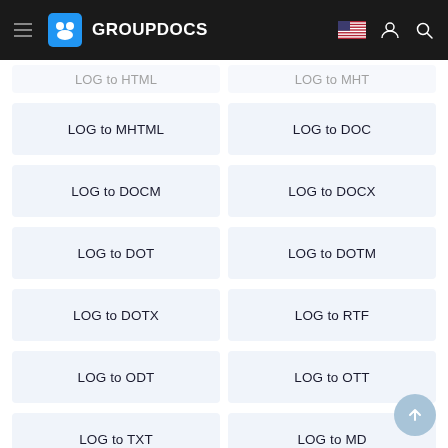GROUPDOCS
LOG to MHTML
LOG to DOC
LOG to DOCM
LOG to DOCX
LOG to DOT
LOG to DOTM
LOG to DOTX
LOG to RTF
LOG to ODT
LOG to OTT
LOG to TXT
LOG to MD
LOG to PDF
LOG to EPUB